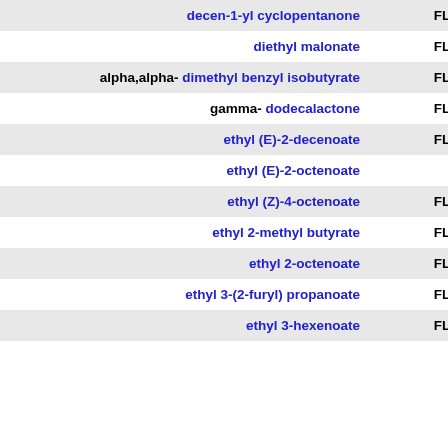| Compound | Code |
| --- | --- |
| decen-1-yl cyclopentanone | FL/FR |
| diethyl malonate | FL/FR |
| alpha,alpha- dimethyl benzyl isobutyrate | FL/FR |
| gamma- dodecalactone | FL/FR |
| ethyl (E)-2-decenoate | FL/FR |
| ethyl (E)-2-octenoate | FL |
| ethyl (Z)-4-octenoate | FL/FR |
| ethyl 2-methyl butyrate | FL/FR |
| ethyl 2-octenoate | FL/FR |
| ethyl 3-(2-furyl) propanoate | FL/FR |
| ethyl 3-hexenoate | FL/FR |